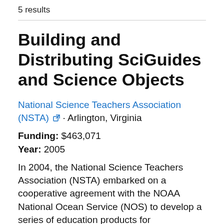5 results
Building and Distributing SciGuides and Science Objects
National Science Teachers Association (NSTA) · Arlington, Virginia
Funding: $463,071
Year: 2005
In 2004, the National Science Teachers Association (NSTA) embarked on a cooperative agreement with the NOAA National Ocean Service (NOS) to develop a series of education products for